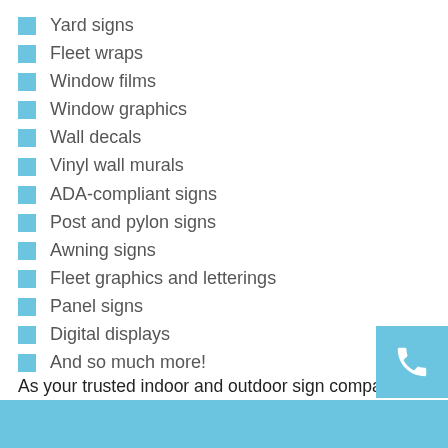Yard signs
Fleet wraps
Window films
Window graphics
Wall decals
Vinyl wall murals
ADA-compliant signs
Post and pylon signs
Awning signs
Fleet graphics and letterings
Panel signs
Digital displays
And so much more!
As your trusted indoor and outdoor sign company, we are confident that we can accommodate your requests and demands. What are you waiting for? Reach out to us t